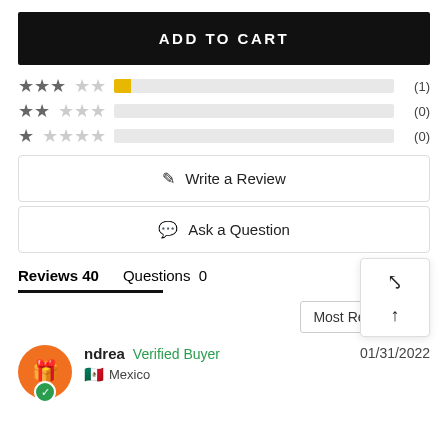ADD TO CART
[Figure (infographic): Star rating rows with progress bars: 3-star (1), 2-star (0), 1-star (0)]
Write a Review
Ask a Question
[Figure (infographic): Popup box with resize and up-arrow icons]
Reviews 40    Questions 0
Most Recent
Andrea  Verified Buyer    01/31/2022    Mexico